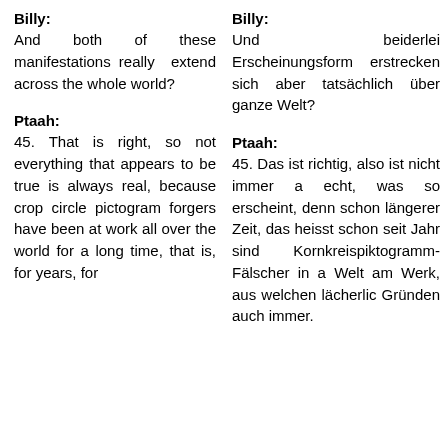Billy:
Billy:
And both of these manifestations really extend across the whole world?
Und beiderlei Erscheinungsformen erstrecken sich aber tatsächlich über die ganze Welt?
Ptaah:
Ptaah:
45. That is right, so not everything that appears to be true is always real, because crop circle pictogram forgers have been at work all over the world for a long time, that is, for years, for
45. Das ist richtig, also ist nicht immer alles echt, was so erscheint, denn schon längerer Zeit, das heisst schon seit Jahren sind Kornkreispiktogramm-Fälscher in aller Welt am Werk, aus welchen lächerlichen Gründen auch immer.